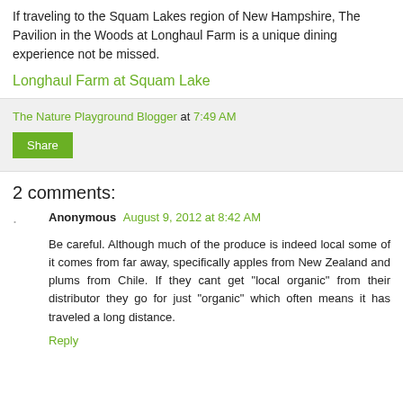If traveling to the Squam Lakes region of New Hampshire, The Pavilion in the Woods at Longhaul Farm is a unique dining experience not be missed.
Longhaul Farm at Squam Lake
The Nature Playground Blogger at 7:49 AM
Share
2 comments:
Anonymous August 9, 2012 at 8:42 AM
Be careful. Although much of the produce is indeed local some of it comes from far away, specifically apples from New Zealand and plums from Chile. If they cant get "local organic" from their distributor they go for just "organic" which often means it has traveled a long distance.
Reply